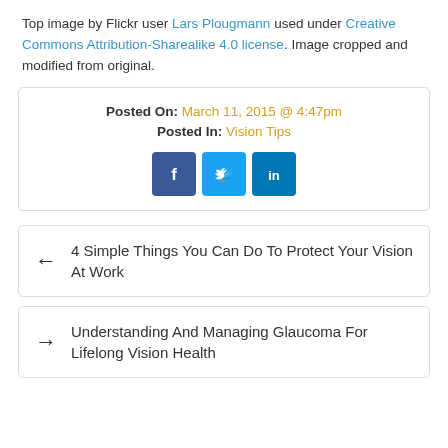Top image by Flickr user Lars Plougmann used under Creative Commons Attribution-Sharealike 4.0 license. Image cropped and modified from original.
Posted On: March 11, 2015 @ 4:47pm
Posted In: Vision Tips
[Figure (other): Social sharing buttons for Facebook, Twitter, and LinkedIn]
← 4 Simple Things You Can Do To Protect Your Vision At Work
→ Understanding And Managing Glaucoma For Lifelong Vision Health